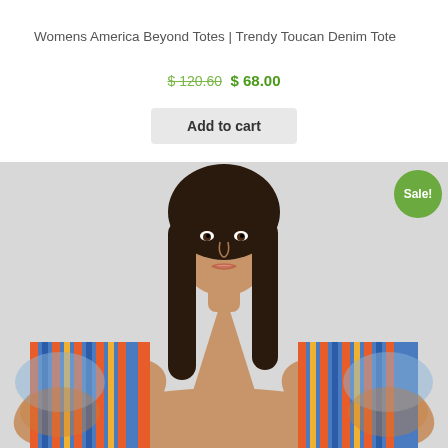Womens America Beyond Totes | Trendy Toucan Denim Tote
$ 120.60  $ 68.00
Add to cart
[Figure (photo): A woman wearing a colorful patterned blue, orange and red kimono-style dress with tropical print, looking directly at camera against a light gray background. A green 'Sale!' badge is visible in the upper right corner of the image.]